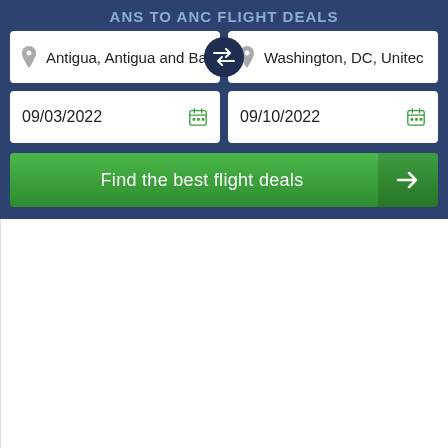ANS to ANC Flight Deals
Antigua, Antigua and Ba...
Washington, DC, Unitec...
09/03/2022
09/10/2022
Find the best flight deals